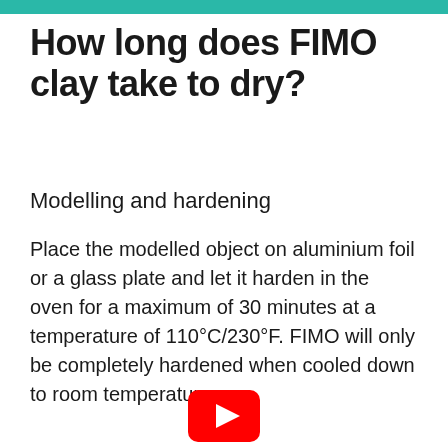How long does FIMO clay take to dry?
Modelling and hardening
Place the modelled object on aluminium foil or a glass plate and let it harden in the oven for a maximum of 30 minutes at a temperature of 110°C/230°F. FIMO will only be completely hardened when cooled down to room temperature.
[Figure (logo): YouTube play button icon (red rounded rectangle with white triangle)]